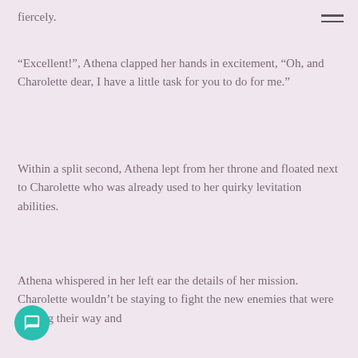fiercely.
“Excellent!”, Athena clapped her hands in excitement, “Oh, and Charolette dear, I have a little task for you to do for me.”
Within a split second, Athena lept from her throne and floated next to Charolette who was already used to her quirky levitation abilities.
Athena whispered in her left ear the details of her mission. Charolette wouldn’t be staying to fight the new enemies that were coming their way and